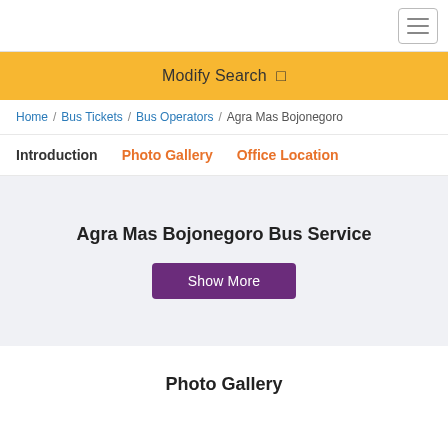Modify Search
Home / Bus Tickets / Bus Operators / Agra Mas Bojonegoro
Introduction  Photo Gallery  Office Location
Agra Mas Bojonegoro Bus Service
Show More
Photo Gallery